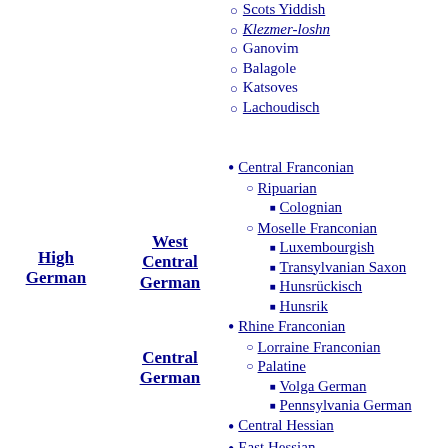Scots Yiddish
Klezmer-loshn
Ganovim
Balagole
Katsoves
Lachoudisch
High German
West Central German
Central German
Central Franconian
Ripuarian
Colognian
Moselle Franconian
Luxembourgish
Transylvanian Saxon
Hunsrückisch
Hunsrik
Rhine Franconian
Lorraine Franconian
Palatine
Volga German
Pennsylvania German
Central Hessian
East Hessian
North Hessian
Amana German